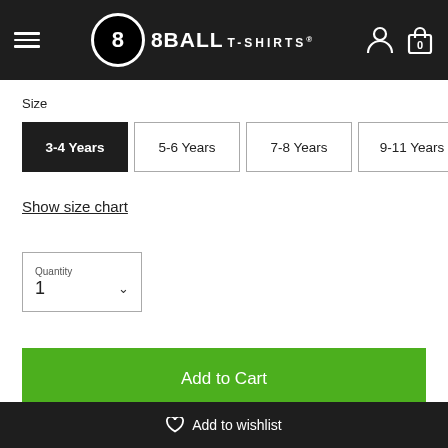[Figure (screenshot): 8Ball T-Shirts website header with logo and navigation icons]
Size
3-4 Years (selected)
5-6 Years
7-8 Years
9-11 Years
Show size chart
Quantity 1
Add to Cart
Add to wishlist